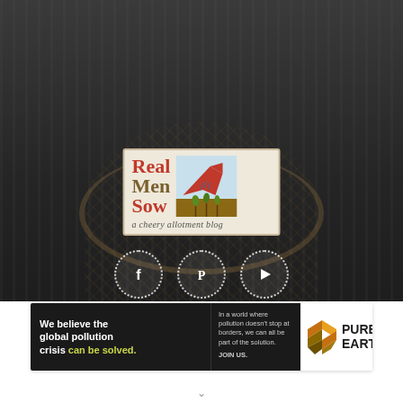[Figure (photo): Dark-toned background photo showing a wicker basket with gardening items against a wooden fence. Overlaid with the Real Men Sow blog logo (illustrated red bird/plough scene, text Real Men Sow, tagline 'a cheery allotment blog') and three social media icon circles (Facebook, Pinterest, YouTube).]
[Figure (logo): Pure Earth advertisement banner. Left black section: 'We believe the global pollution crisis can be solved.' Center: 'In a world where pollution doesn't stop at borders, we can all be part of the solution. JOIN US.' Right white section: Pure Earth logo with diamond/layers icon and bold text PURE EARTH.]